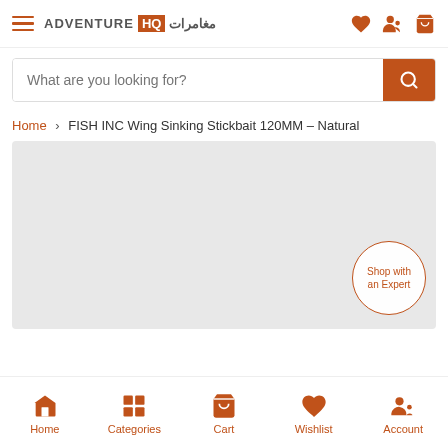[Figure (screenshot): Adventure HQ logo with hamburger menu and nav icons (heart, user, cart)]
[Figure (screenshot): Search bar with placeholder 'What are you looking for?' and orange search button]
Home > FISH INC Wing Sinking Stickbait 120MM - Natural
[Figure (photo): Product image area (gray placeholder) with 'Shop with an Expert' circular button]
[Figure (screenshot): Bottom navigation bar with Home, Categories, Cart, Wishlist, Account icons]